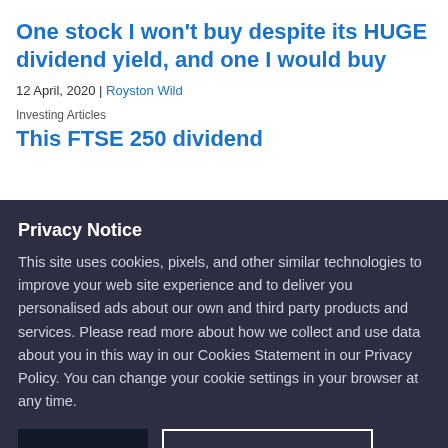One stock I won't buy despite its HUGE dividend yield, and one I would buy
12 April, 2020 | Royston Wild
Investing Articles
This FTSE 250 dividend...
Privacy Notice
This site uses cookies, pixels, and other similar technologies to improve your web site experience and to deliver you personalised ads about our own and third party products and services. Please read more about how we collect and use data about you in this way in our Cookies Statement in our Privacy Policy. You can change your cookie settings in your browser at any time.
Accept
Cookie Preferences